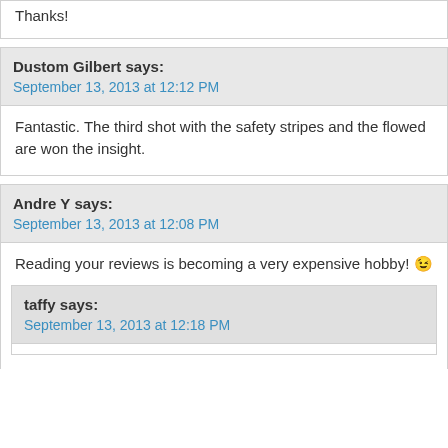Thanks!
Dustom Gilbert says:
September 13, 2013 at 12:12 PM
Fantastic. The third shot with the safety stripes and the flowed are won... the insight.
Andre Y says:
September 13, 2013 at 12:08 PM
Reading your reviews is becoming a very expensive hobby! 😉
taffy says:
September 13, 2013 at 12:18 PM